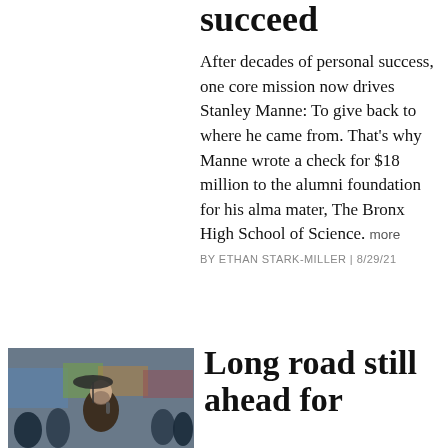succeed
After decades of personal success, one core mission now drives Stanley Manne: To give back to where he came from. That’s why Manne wrote a check for $18 million to the alumni foundation for his alma mater, The Bronx High School of Science. more
BY ETHAN STARK-MILLER | 8/29/21
[Figure (photo): A man speaking at a podium outdoors in the rain, with a crowd of people and colorful banners visible behind him.]
Long road still ahead for